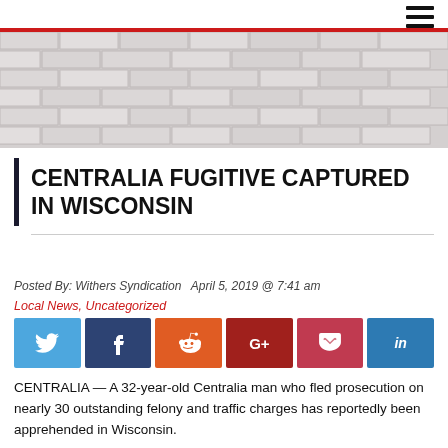[Figure (photo): Brick wall banner image with red top border]
CENTRALIA FUGITIVE CAPTURED IN WISCONSIN
Posted By: Withers Syndication   April 5, 2019 @ 7:41 am
Local News, Uncategorized
[Figure (infographic): Social media share buttons: Twitter, Facebook, Reddit, Google+, Pocket, LinkedIn]
CENTRALIA — A 32-year-old Centralia man who fled prosecution on nearly 30 outstanding felony and traffic charges has reportedly been apprehended in Wisconsin.